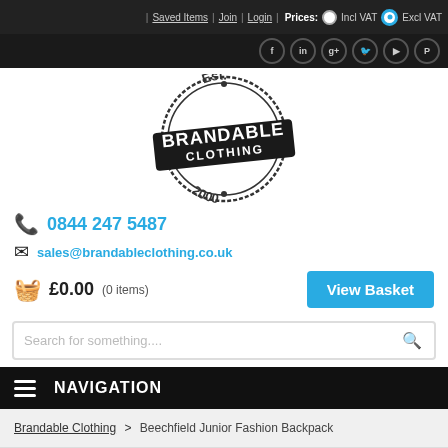Saved Items | Join | Login | Prices: Incl VAT  Excl VAT
[Figure (logo): Brandable Clothing stamp logo, Est. 2000]
0844 247 5487
sales@brandableclothing.co.uk
£0.00 (0 items)
View Basket
Search for something....
NAVIGATION
Brandable Clothing > Beechfield Junior Fashion Backpack